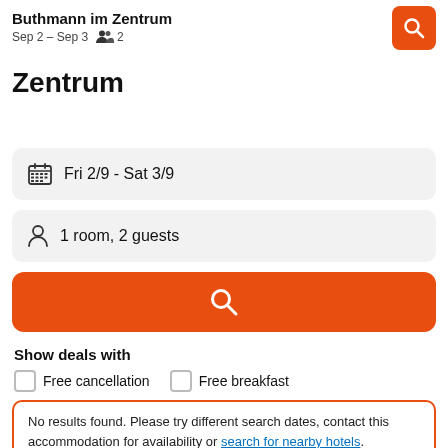Buthmann im Zentrum  Sep 2 – Sep 3  2
Zentrum
Fri 2/9  -  Sat 3/9
1 room, 2 guests
[Figure (other): Orange search button with magnifying glass icon]
Show deals with
Free cancellation
Free breakfast
No results found. Please try different search dates, contact this accommodation for availability or search for nearby hotels.